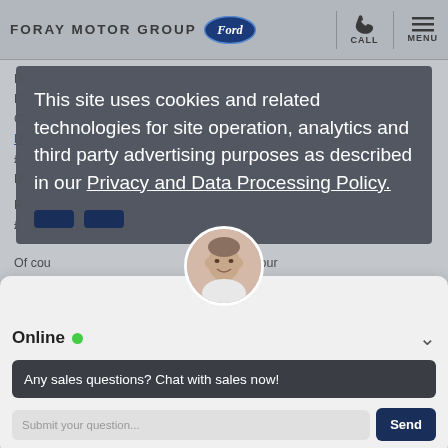FORAY MOTOR GROUP Ford CALL MENU
[Figure (screenshot): Foray Motor Group website screenshot with Ford logo, call and menu navigation icons in header. Background shows partial car listing content. A cookie consent overlay reads: 'This site uses cookies and related technologies for site operation, analytics and third party advertising purposes as described in our Privacy and Data Processing Policy.' A live chat widget shows a sales representative avatar, 'Online' status with green dot, message 'Any sales questions? Chat with sales now!' and a 'Submit your question...' input with 'Send' button.]
This site uses cookies and related technologies for site operation, analytics and third party advertising purposes as described in our Privacy and Data Processing Policy.
Online • Any sales questions? Chat with sales now!
Of course, you're under no obligation to pay our deposit...
Click here to receive a personalised quotation and to enquire